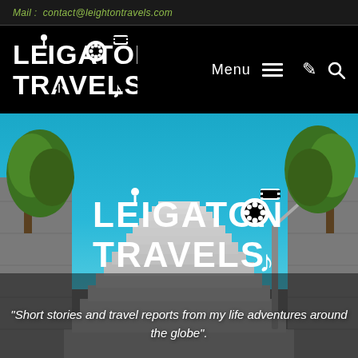Mail : contact@leightontravels.com
[Figure (logo): Leigaton Travels logo in white on black header navigation bar, with Menu hamburger icon and search icon]
[Figure (photo): Outdoor staircase leading upward flanked by stone walls and green trees against a bright blue sky, with Leigaton Travels logo overlaid in center and italic tagline below]
"Short stories and travel reports from my life adventures around the globe".